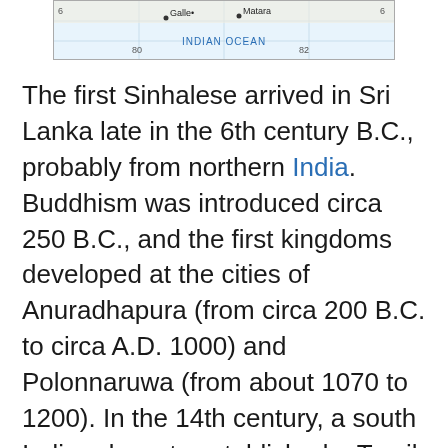[Figure (map): Partial map of Sri Lanka showing southern coast with labels for Galle, Matara, Indian Ocean, and coordinate grid lines (80, 82 longitude, 6 latitude)]
The first Sinhalese arrived in Sri Lanka late in the 6th century B.C., probably from northern India. Buddhism was introduced circa 250 B.C., and the first kingdoms developed at the cities of Anuradhapura (from circa 200 B.C. to circa A.D. 1000) and Polonnaruwa (from about 1070 to 1200). In the 14th century, a south Indian dynasty established a Tamil kingdom in northern Sri Lanka. The Portuguese controlled the island's coastal areas in the 16th century, followed by the Dutch in the 17th century. The island was ceded to the British in 1796, became a crown colony in 1802, and was formally united under British rule by 1815. As Ceylon,